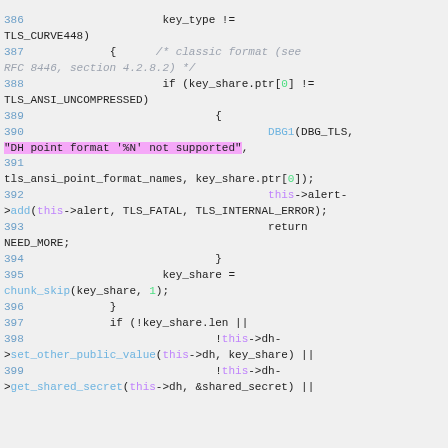[Figure (screenshot): Source code viewer showing C/C++ code lines 386-399 with syntax highlighting. Line numbers in blue, keywords in purple, function names in blue, comments in gray italic, a string literal highlighted in pink/magenta, and green number literals. Background is light gray.]